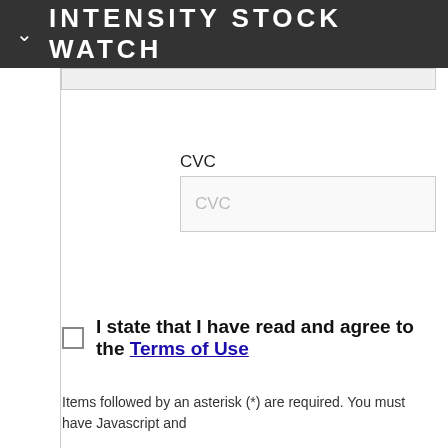INTENSITY STOCK WATCH
CVC
CVC (placeholder)
I state that I have read and agree to the Terms of Use
Items followed by an asterisk (*) are required. You must have Javascript and